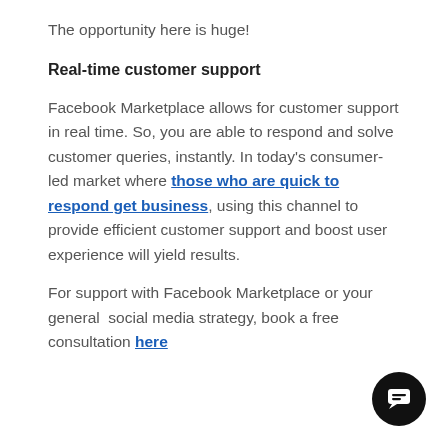The opportunity here is huge!
Real-time customer support
Facebook Marketplace allows for customer support in real time. So, you are able to respond and solve customer queries, instantly. In today's consumer-led market where those who are quick to respond get business, using this channel to provide efficient customer support and boost user experience will yield results.
For support with Facebook Marketplace or your general  social media strategy, book a free consultation here